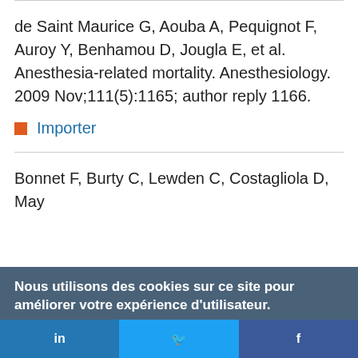de Saint Maurice G, Aouba A, Pequignot F, Auroy Y, Benhamou D, Jougla E, et al. Anesthesia-related mortality. Anesthesiology. 2009 Nov;111(5):1165; author reply 1166.
Importer
Bonnet F, Burty C, Lewden C, Costagliola D, May
Nous utilisons des cookies sur ce site pour améliorer votre expérience d'utilisateur. En cliquant sur un lien de cette page, vous nous donnez votre consentement de définir des cookies.
Oui, je suis d'accord
Plus d'infos
in  Twitter  f